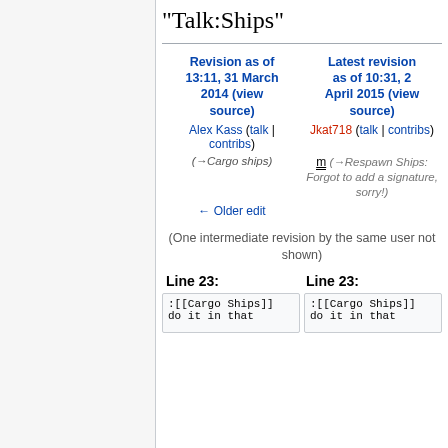"Talk:Ships"
| Revision as of 13:11, 31 March 2014 (view source) | Latest revision as of 10:31, 2 April 2015 (view source) |
| --- | --- |
| Alex Kass (talk | contribs) | Jkat718 (talk | contribs) |
| (→Cargo ships) | m (→Respawn Ships: Forgot to add a signature, sorry!) |
| ← Older edit |  |
(One intermediate revision by the same user not shown)
Line 23:
:[[Cargo Ships]]
do it in that
Line 23:
:[[Cargo Ships]]
do it in that